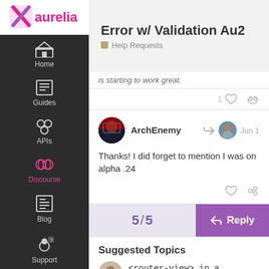Error w/ Validation Au2 — Help Requests
is starting to work great.
1 like, link
ArchEnemy — Jun 1
Thanks! I did forget to mention I was on alpha .24
5 / 5
Reply
Suggested Topics
<router-view> in a dialog — 6